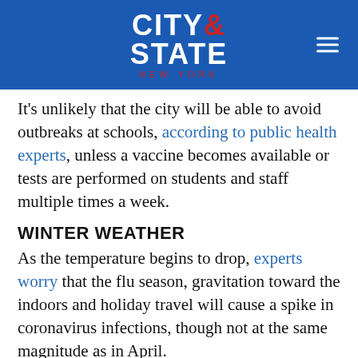CITY & STATE NEW YORK
It's unlikely that the city will be able to avoid outbreaks at schools, according to public health experts, unless a vaccine becomes available or tests are performed on students and staff multiple times a week.
WINTER WEATHER
As the temperature begins to drop, experts worry that the flu season, gravitation toward the indoors and holiday travel will cause a spike in coronavirus infections, though not at the same magnitude as in April.
The virus travels more easily through the air during the winter, making transmission easier. And such viruses typically reach their peak during winter, when